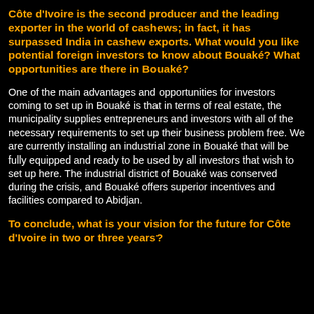Côte d'Ivoire is the second producer and the leading exporter in the world of cashews; in fact, it has surpassed India in cashew exports. What would you like potential foreign investors to know about Bouaké? What opportunities are there in Bouaké?
One of the main advantages and opportunities for investors coming to set up in Bouaké is that in terms of real estate, the municipality supplies entrepreneurs and investors with all of the necessary requirements to set up their business problem free. We are currently installing an industrial zone in Bouaké that will be fully equipped and ready to be used by all investors that wish to set up here. The industrial district of Bouaké was conserved during the crisis, and Bouaké offers superior incentives and facilities compared to Abidjan.
To conclude, what is your vision for the future for Côte d'Ivoire in two or three years?